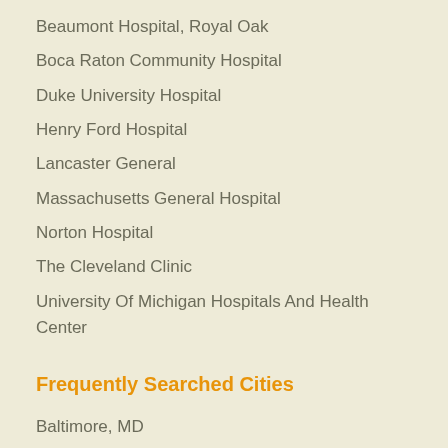Beaumont Hospital, Royal Oak
Boca Raton Community Hospital
Duke University Hospital
Henry Ford Hospital
Lancaster General
Massachusetts General Hospital
Norton Hospital
The Cleveland Clinic
University Of Michigan Hospitals And Health Center
Frequently Searched Cities
Baltimore, MD
Cincinnati, OH
Dallas, TX
Detroit, MI
Miami, FL
New York, NY